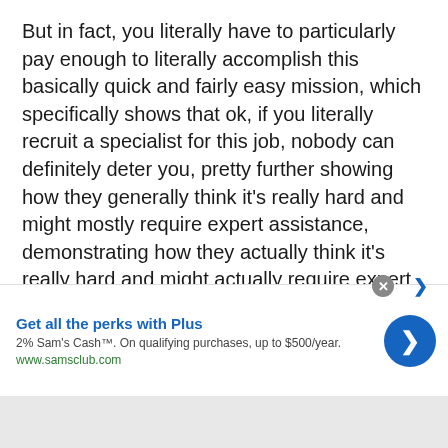But in fact, you literally have to particularly pay enough to literally accomplish this basically quick and fairly easy mission, which specifically shows that ok, if you literally recruit a specialist for this job, nobody can definitely deter you, pretty further showing how they generally think it’s really hard and might mostly require expert assistance, demonstrating how they actually think it’s really hard and might actually require expert assistance in a sort of big way. Take the steps you’ve been specifically told to definitely do here and you will in a major
[Figure (other): Advertisement banner for Sam's Club Plus membership. Title: 'Get all the perks with Plus'. Subtitle: '2% Sam’s Cash™. On qualifying purchases, up to $500/year.' URL: www.samsclub.com. Blue circular CTA button with right arrow. Close button (X) in gray circle.]